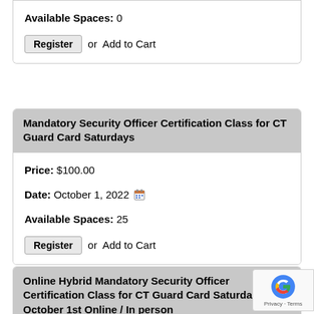Available Spaces: 0
Register or Add to Cart
Mandatory Security Officer Certification Class for CT Guard Card Saturdays
Price: $100.00
Date: October 1, 2022
Available Spaces: 25
Register or Add to Cart
Online Hybrid Mandatory Security Officer Certification Class for CT Guard Card Saturday October 1st Online / In person